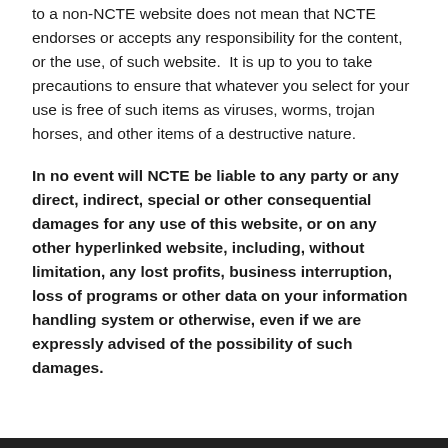to a non-NCTE website does not mean that NCTE endorses or accepts any responsibility for the content, or the use, of such website.  It is up to you to take precautions to ensure that whatever you select for your use is free of such items as viruses, worms, trojan horses, and other items of a destructive nature.
In no event will NCTE be liable to any party or any direct, indirect, special or other consequential damages for any use of this website, or on any other hyperlinked website, including, without limitation, any lost profits, business interruption, loss of programs or other data on your information handling system or otherwise, even if we are expressly advised of the possibility of such damages.